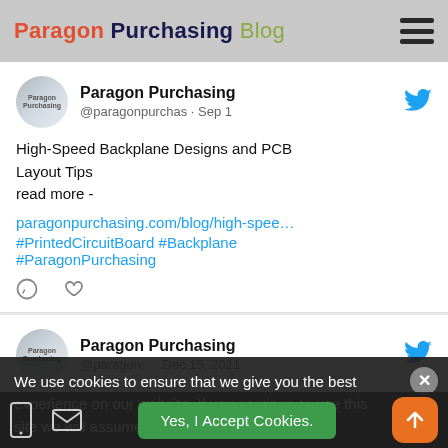Paragon Purchasing Blog
[Figure (screenshot): Twitter/social media feed embed showing two Paragon Purchasing tweets]
Paragon Purchasing @paragonpurchas · Sep 1
High-Speed Backplane Designs and PCB Layout Tips
read more -
paragonpurchasing.com/blog/high-spee…
#PrintedCircuitBoard #Backplane
#ParagonPurchasing
Paragon Purchasing @paragon... · Dec 15, 2021
What Is a Flywheel and How Does It Work?
read more - city.ac.plan
#Flywheel #FlywheelWork
We use cookies to ensure that we give you the best experience on our website. If you continue to use this site we will assume that you are happy with it.